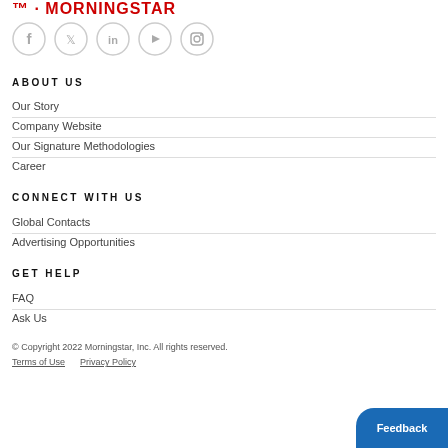[Figure (logo): Morningstar logo partial (red text, cropped at top)]
[Figure (infographic): Social media icons row: Facebook, Twitter, LinkedIn, YouTube, Instagram — all in light gray circle outlines]
ABOUT US
Our Story
Company Website
Our Signature Methodologies
Career
CONNECT WITH US
Global Contacts
Advertising Opportunities
GET HELP
FAQ
Ask Us
© Copyright 2022 Morningstar, Inc. All rights reserved. Terms of Use    Privacy Policy